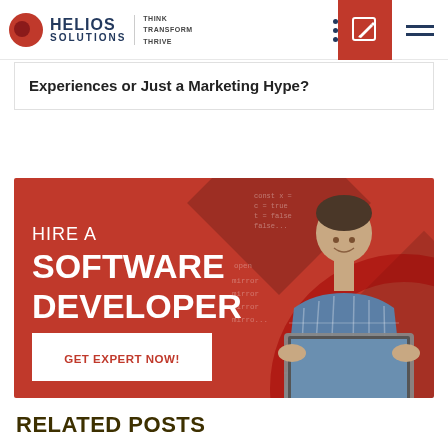HELIOS SOLUTIONS — THINK TRANSFORM THRIVE
Experiences or Just a Marketing Hype?
[Figure (infographic): Red banner ad for Helios Solutions: 'HIRE A SOFTWARE DEVELOPER — GET EXPERT NOW!' with a man holding a laptop and code overlay in background]
RELATED POSTS